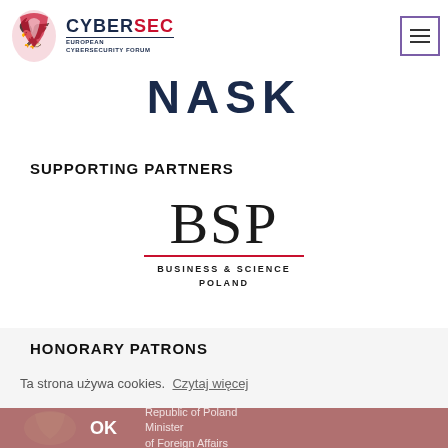[Figure (logo): CYBERSEC European Cybersecurity Forum logo with red eagle emblem]
[Figure (logo): NASK logo in dark navy bold text]
SUPPORTING PARTNERS
[Figure (logo): BSP Business & Science Poland logo with red underline]
HONORARY PATRONS
Ta strona używa cookies. Czytaj więcej
OK Republic of Poland Minister of Foreign Affairs